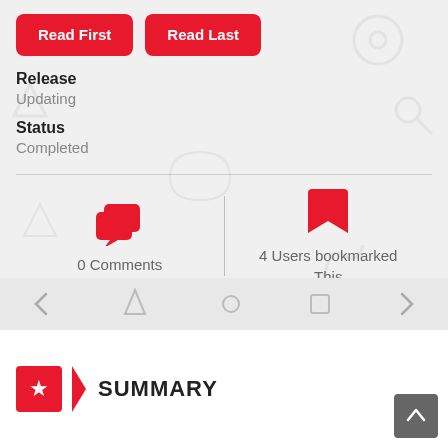Read First
Read Last
Release
Updating
Status
Completed
0 Comments
4 Users bookmarked This
SUMMARY